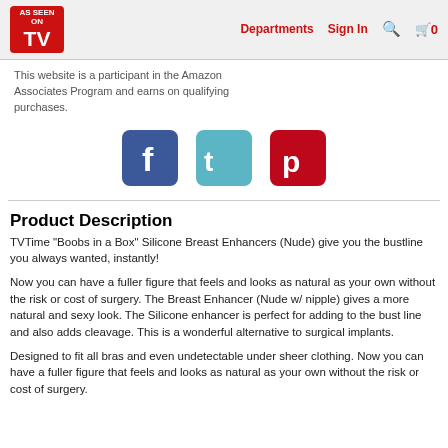AS SEEN ON TV | Departments | Sign In | Search | Cart 0
This website is a participant in the Amazon Associates Program and earns on qualifying purchases.
[Figure (logo): Facebook, Twitter, and Pinterest social media icon buttons]
Product Description
TVTime "Boobs in a Box" Silicone Breast Enhancers (Nude) give you the bustline you always wanted, instantly!

Now you can have a fuller figure that feels and looks as natural as your own without the risk or cost of surgery. The Breast Enhancer (Nude w/ nipple) gives a more natural and sexy look. The Silicone enhancer is perfect for adding to the bust line and also adds cleavage. This is a wonderful alternative to surgical implants.

Designed to fit all bras and even undetectable under sheer clothing. Now you can have a fuller figure that feels and looks as natural as your own without the risk or cost of surgery.